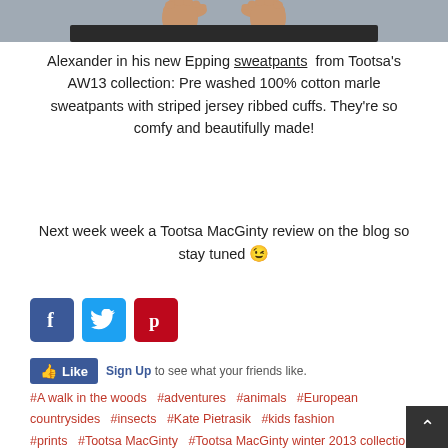[Figure (photo): Photo showing bare feet standing on a dark surface, cropped at the top of the page]
Alexander in his new Epping sweatpants from Tootsa's AW13 collection: Pre washed 100% cotton marle sweatpants with striped jersey ribbed cuffs. They're so comfy and beautifully made!
Next week week a Tootsa MacGinty review on the blog so stay tuned 😉
[Figure (other): Social sharing buttons: Facebook (blue), Twitter (light blue), Pinterest (red)]
[Figure (other): Facebook Like button with Sign Up text: Sign Up to see what your friends like.]
#A walk in the woods  #adventures  #animals  #European countrysides  #insects  #Kate Pietrasik  #kids fashion  #prints  #Tootsa MacGinty  #Tootsa MacGinty winter 2013 collection  #Unisex clothing  #Unisex clothing brand